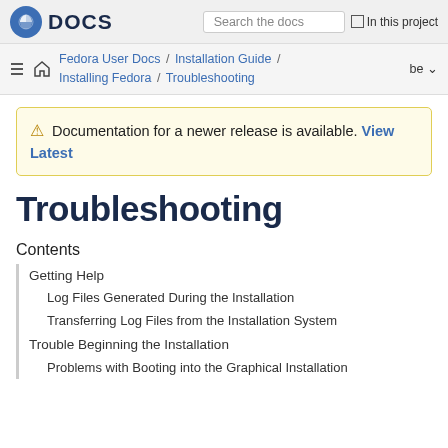Fedora DOCS | Search the docs | In this project
Fedora User Docs / Installation Guide / Installing Fedora / Troubleshooting | be
⚠ Documentation for a newer release is available. View Latest
Troubleshooting
Contents
Getting Help
Log Files Generated During the Installation
Transferring Log Files from the Installation System
Trouble Beginning the Installation
Problems with Booting into the Graphical Installation